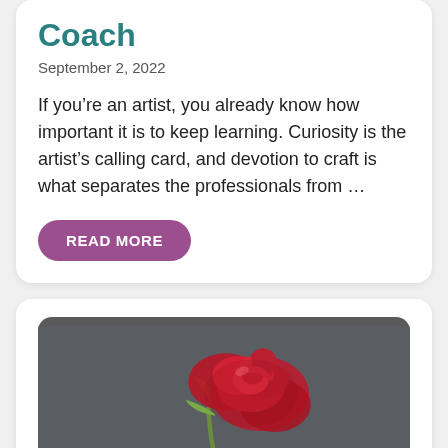Coach
September 2, 2022
If you’re an artist, you already know how important it is to keep learning. Curiosity is the artist’s calling card, and devotion to craft is what separates the professionals from …
READ MORE
[Figure (photo): A red rose lying on a dark grey background, photographed close-up.]